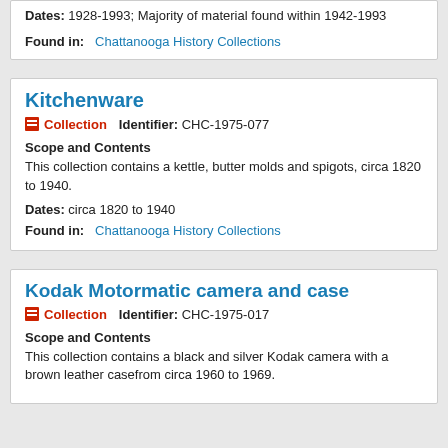Dates: 1928-1993; Majority of material found within 1942-1993
Found in: Chattanooga History Collections
Kitchenware
Collection   Identifier: CHC-1975-077
Scope and Contents
This collection contains a kettle, butter molds and spigots, circa 1820 to 1940.
Dates: circa 1820 to 1940
Found in: Chattanooga History Collections
Kodak Motormatic camera and case
Collection   Identifier: CHC-1975-017
Scope and Contents
This collection contains a black and silver Kodak camera with a brown leather casefrom circa 1960 to 1969.